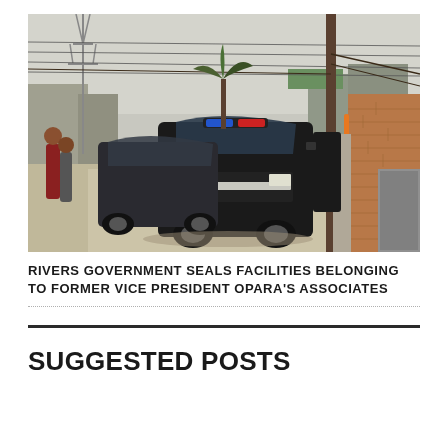[Figure (photo): Street scene with a black police/government SUV with blue and red lights on the roof driving down a dirt road. Other vehicles and people visible on the left side of the street. Power lines, a wooden utility pole, and a brick wall with a metallic gate visible on the right. Trees and buildings in the background under an overcast sky.]
RIVERS GOVERNMENT SEALS FACILITIES BELONGING TO FORMER VICE PRESIDENT OPARA'S ASSOCIATES
SUGGESTED POSTS